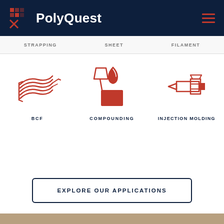PolyQuest
STRAPPING   SHEET   FILAMENT
[Figure (illustration): BCF icon - coiled fiber/spool illustration in red outline style]
BCF
[Figure (illustration): Compounding icon - funnel/mixing container illustration in red outline style]
COMPOUNDING
[Figure (illustration): Injection Molding icon - extruder/mold machine illustration in red outline style]
INJECTION MOLDING
EXPLORE OUR APPLICATIONS
[Figure (photo): A woman with glasses and brown hair smiling, working at a lab or workspace]